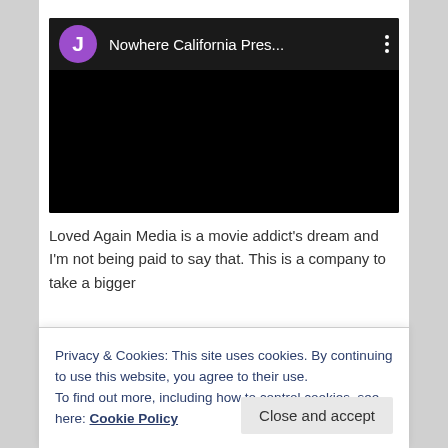[Figure (screenshot): YouTube-style video embed with purple avatar showing letter J, channel name 'Nowhere California Pres...', three-dot menu, and black video area below]
Loved Again Media is a movie addict's dream and I'm not being paid to say that. This is a company to take a bigger
Privacy & Cookies: This site uses cookies. By continuing to use this website, you agree to their use.
To find out more, including how to control cookies, see here: Cookie Policy